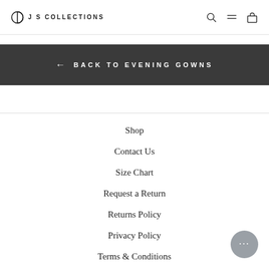JS COLLECTIONS
← BACK TO EVENING GOWNS
Shop
Contact Us
Size Chart
Request a Return
Returns Policy
Privacy Policy
Terms & Conditions